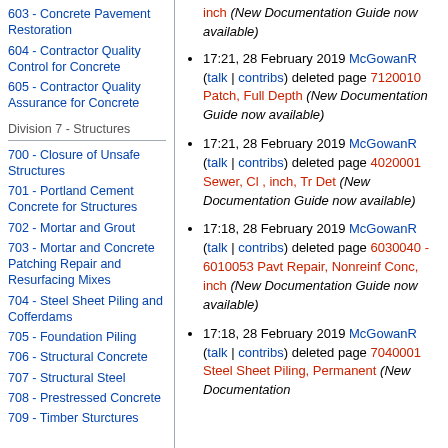603 - Concrete Pavement Restoration
604 - Contractor Quality Control for Concrete
605 - Contractor Quality Assurance for Concrete
Division 7 - Structures
700 - Closure of Unsafe Structures
701 - Portland Cement Concrete for Structures
702 - Mortar and Grout
703 - Mortar and Concrete Patching Repair and Resurfacing Mixes
704 - Steel Sheet Piling and Cofferdams
705 - Foundation Piling
706 - Structural Concrete
707 - Structural Steel
708 - Prestressed Concrete
709 - Timber Sturctures
inch (New Documentation Guide now available)
17:21, 28 February 2019 McGowanR (talk | contribs) deleted page 7120010 Patch, Full Depth (New Documentation Guide now available)
17:21, 28 February 2019 McGowanR (talk | contribs) deleted page 4020001 Sewer, Cl , inch, Tr Det (New Documentation Guide now available)
17:18, 28 February 2019 McGowanR (talk | contribs) deleted page 6030040 - 6010053 Pavt Repair, Nonreinf Conc, inch (New Documentation Guide now available)
17:18, 28 February 2019 McGowanR (talk | contribs) deleted page 7040001 Steel Sheet Piling, Permanent (New Documentation